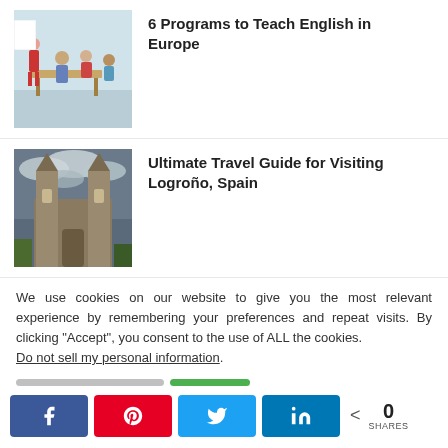[Figure (photo): Classroom scene with teacher in red dress and students seated at tables]
6 Programs to Teach English in Europe
[Figure (photo): Cathedral with tall spires against a dramatic cloudy sky, Logroño, Spain]
Ultimate Travel Guide for Visiting Logroño, Spain
We use cookies on our website to give you the most relevant experience by remembering your preferences and repeat visits. By clicking “Accept”, you consent to the use of ALL the cookies.
Do not sell my personal information.
[Figure (other): Slider/progress bar with gray and green segments]
[Figure (other): Social share buttons: Facebook, Pinterest, Twitter, LinkedIn, and share count showing 0 SHARES]